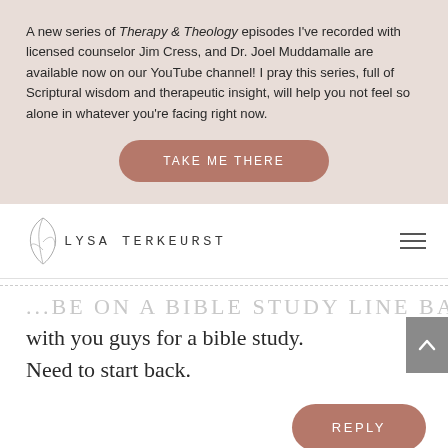A new series of Therapy & Theology episodes I've recorded with licensed counselor Jim Cress, and Dr. Joel Muddamalle are available now on our YouTube channel! I pray this series, full of Scriptural wisdom and therapeutic insight, will help you not feel so alone in whatever you're facing right now.
[Figure (other): Button: TAKE ME THERE]
[Figure (logo): Lysa TerKeurst logo with decorative leaf/botanical element and navigation hamburger menu]
with you guys for a bible study. Need to start back.
[Figure (other): Scroll-to-top button with upward chevron arrow]
[Figure (other): REPLY button]